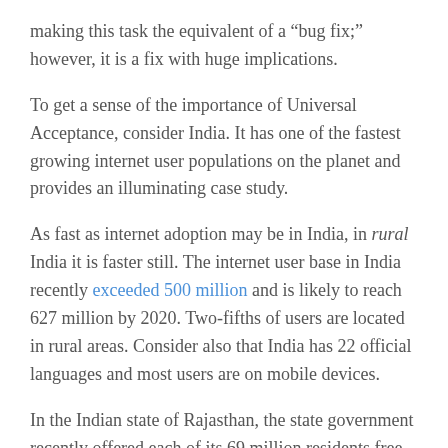making this task the equivalent of a “bug fix;” however, it is a fix with huge implications.
To get a sense of the importance of Universal Acceptance, consider India. It has one of the fastest growing internet user populations on the planet and provides an illuminating case study.
As fast as internet adoption may be in India, in rural India it is faster still. The internet user base in India recently exceeded 500 million and is likely to reach 627 million by 2020. Two-fifths of users are located in rural areas. Consider also that India has 22 official languages and most users are on mobile devices.
In the Indian state of Rajasthan, the state government recently offered each of its 69 million residents free email addresses in both Hindi and English, while directing online public services to be Universal Acceptance ready (i.e. 100% available in Hindi). This